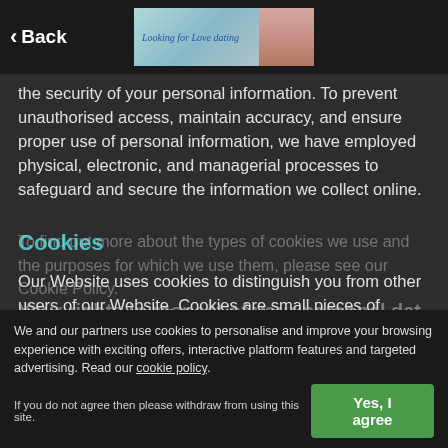Back
[Figure (illustration): Advertisement banner for 'Looking for Love dating' with a couple photo]
the security of your personal information. To prevent unauthorised access, maintain accuracy, and ensure proper use of personal information, we have employed physical, electronic, and managerial processes to safeguard and secure the information we collect online.
Cookies
Our Website uses cookies to distinguish you from other users of our Website. Cookies are small pieces of removable data that are stored by the web-browser on your computer, mobile phone or other device that identifies your computer, mobile phone or other device when you visit the Website. We use cookies to improve the Website and the Services available to you.
We and our partners use cookies to personalise and improve your browsing experience with exciting offers, interactive platform features and targeted advertising. Read our cookie policy.
If you do not agree then please withdraw from using this site.
Your rights in respect of your personal dat...